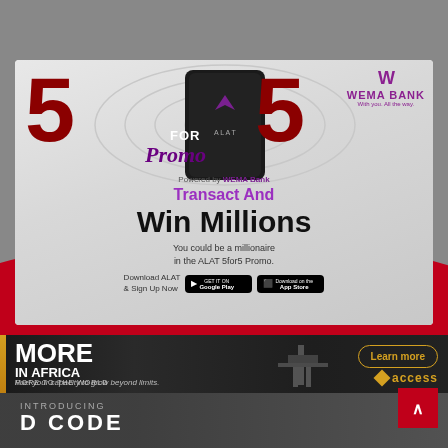[Figure (infographic): Wema Bank ALAT 5for5 Promo advertisement. Shows large red 3D '5' numerals on left and right, a smartphone showing ALAT app in the center with concentric signal rings in background. Text reads 'Powered by WEMA Bank', 'Transact And', 'Win Millions', 'You could be a millionaire in the ALAT 5for5 Promo.' Download buttons for Google Play and App Store. Wema Bank logo in top right with purple W icon.]
[Figure (infographic): Access Bank banner advertisement on dark background. Text reads 'MORE IN AFRICA MORE TO THE WORLD', 'Fuel your capacity to grow beyond limits.' with a 'Learn more' button and Access Bank logo. Oil platform imagery on right side.]
[Figure (infographic): D CODE introduction section at bottom. Shows 'INTRODUCING D CODE' text over dark background with a person holding a card.]